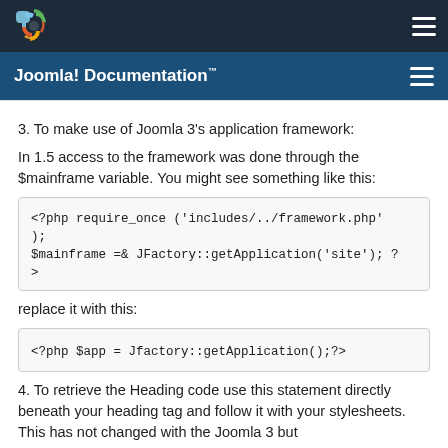Joomla! Documentation™
3. To make use of Joomla 3's application framework:
In 1.5 access to the framework was done through the $mainframe variable. You might see something like this:
<?php require_once ('includes/../framework.php');
$mainframe =& JFactory::getApplication('site'); ?>
replace it with this:
<?php $app = Jfactory::getApplication();?>
4. To retrieve the Heading code use this statement directly beneath your heading tag and follow it with your stylesheets. This has not changed with the Joomla 3 but